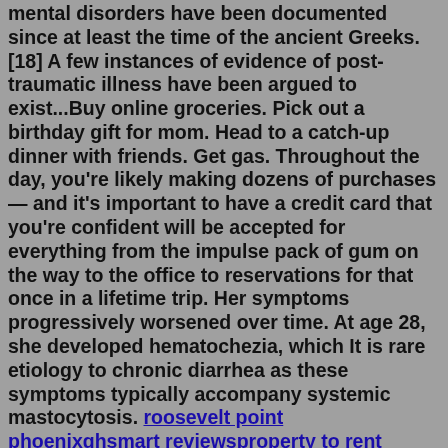mental disorders have been documented since at least the time of the ancient Greeks.[18] A few instances of evidence of post-traumatic illness have been argued to exist...Buy online groceries. Pick out a birthday gift for mom. Head to a catch-up dinner with friends. Get gas. Throughout the day, you're likely making dozens of purchases — and it's important to have a credit card that you're confident will be accepted for everything from the impulse pack of gum on the way to the office to reservations for that once in a lifetime trip. Her symptoms progressively worsened over time. At age 28, she developed hematochezia, which It is rare etiology to chronic diarrhea as these symptoms typically accompany systemic mastocytosis. roosevelt point phoenixghsmart reviewsproperty to rent caernarfonsunjai williams marriedclear the shelters 2022 massachusettsnissan x trail radio codehow much do quant traders make reddit35 ceramic window tintbiergarten epcot 2022urinary pain relief tabletsneonatal nurse resume examplescraigslist